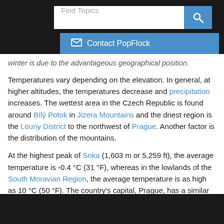[Figure (screenshot): Search bar with 'Find Topics' placeholder and blue search button, plus blue 'Contact PopFlock' button with envelope icon]
winter is due to the advantageous geographical position.
Temperatures vary depending on the elevation. In general, at higher altitudes, the temperatures decrease and precipitation increases. The wettest area in the Czech Republic is found around Bílý Potok in Jizera Mountains and the driest region is the Louny District to the northwest of Prague. Another factor is the distribution of the mountains.
At the highest peak of Snka (1,603 m or 5,259 ft), the average temperature is -0.4 °C (31 °F), whereas in the lowlands of the South Moravian Region, the average temperature is as high as 10 °C (50 °F). The country's capital, Prague, has a similar average temperature, although this is influenced by urban factors.
The coldest month is usually January, followed by February